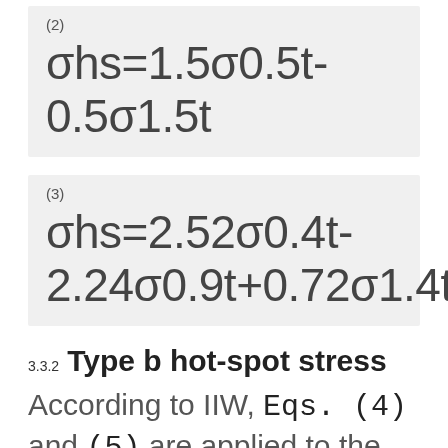(2) σhs=1.5σ0.5t-0.5σ1.5t
(3) σhs=2.52σ0.4t-2.24σ0.9t+0.72σ1.4t
3.3.2 Type b hot-spot stress
According to IIW, Eqs. (4) and (5) are applied to the fine and coarse mesh